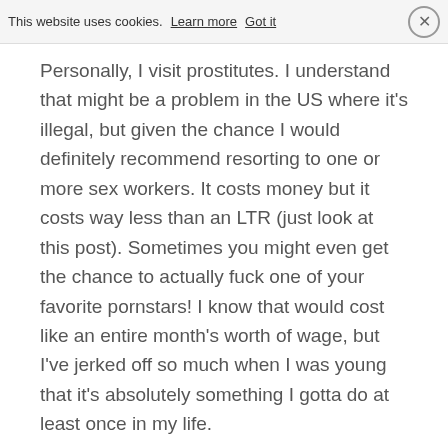This website uses cookies. Learn more   Got it   ×
Personally, I visit prostitutes. I understand that might be a problem in the US where it's illegal, but given the chance I would definitely recommend resorting to one or more sex workers. It costs money but it costs way less than an LTR (just look at this post). Sometimes you might even get the chance to actually fuck one of your favorite pornstars! I know that would cost like an entire month's worth of wage, but I've jerked off so much when I was young that it's absolutely something I gotta do at least once in my life.
If you're concerned about STIs, use condoms correctly and consistently and get checked periodically. You may receive questions about the